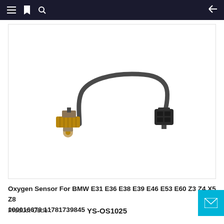Navigation bar with menu, bookmark, search, and back icons
[Figure (photo): Oxygen sensor for BMW with black cable, threaded metal body with sensor tip on left end, and black plastic connector on right end, connected by a curved wire harness]
Oxygen Sensor For BMW E31 E36 E38 E39 E46 E53 E60 Z3 Z4 X5 Z8 100016678 11781739845
Product Code：   YS-OS1025